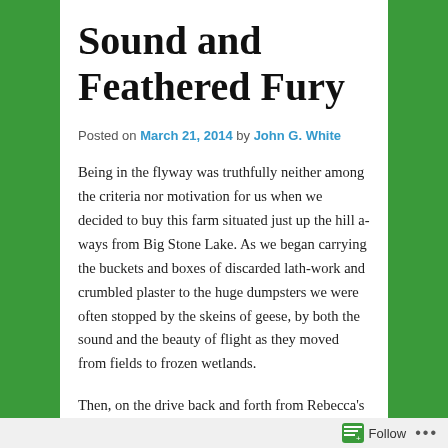Sound and Feathered Fury
Posted on March 21, 2014 by John G. White
Being in the flyway was truthfully neither among the criteria nor motivation for us when we decided to buy this farm situated just up the hill a-ways from Big Stone Lake. As we began carrying the buckets and boxes of discarded lath-work and crumbled plaster to the huge dumpsters we were often stopped by the skeins of geese, by both the sound and the beauty of flight as they moved from fields to frozen wetlands.
Then, on the drive back and forth from Rebecca's house in Clinton, we watched as continuing populations of different ducks stopped on the way through. Redwing blackbirds soon took up negotiations in the cattails on the